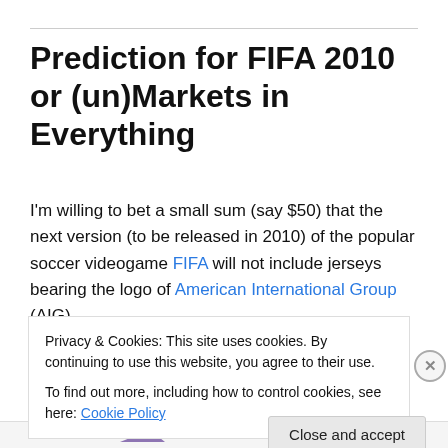Prediction for FIFA 2010 or (un)Markets in Everything
I'm willing to bet a small sum (say $50) that the next version (to be released in 2010) of the popular soccer videogame FIFA will not include jerseys bearing the logo of American International Group (AIG).
Edit: Insurance company AON buys logo space on Manchester United jerseys to replace AIG
Privacy & Cookies: This site uses cookies. By continuing to use this website, you agree to their use.
To find out more, including how to control cookies, see here: Cookie Policy
Close and accept